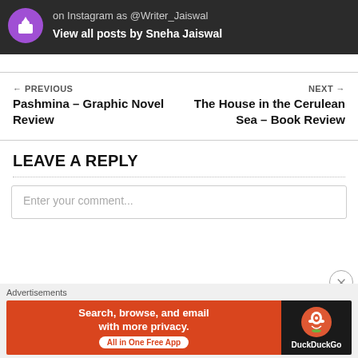on Instagram as @Writer_Jaiswal
View all posts by Sneha Jaiswal
← PREVIOUS
Pashmina – Graphic Novel Review
NEXT →
The House in the Cerulean Sea – Book Review
LEAVE A REPLY
Enter your comment...
Advertisements
Search, browse, and email with more privacy. All in One Free App